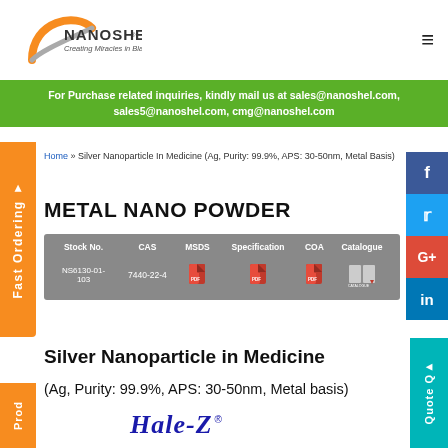[Figure (logo): Nanoshel logo with orange arc and text 'NANOSHEL - Creating Miracles in Black']
For Purchase related inquiries, kindly mail us at sales@nanoshel.com, sales5@nanoshel.com, cmg@nanoshel.com
Home » Silver Nanoparticle In Medicine (Ag, Purity: 99.9%, APS: 30-50nm, Metal Basis)
METAL NANO POWDER
| Stock No. | CAS | MSDS | Specification | COA | Catalogue |
| --- | --- | --- | --- | --- | --- |
| NS6130-01-103 | 7440-22-4 | [PDF] | [PDF] | [PDF] | [Catalogue] |
Silver Nanoparticle in Medicine
(Ag, Purity: 99.9%, APS: 30-50nm, Metal basis)
[Figure (logo): Hale-Z registered trademark brand name in dark blue italic text]